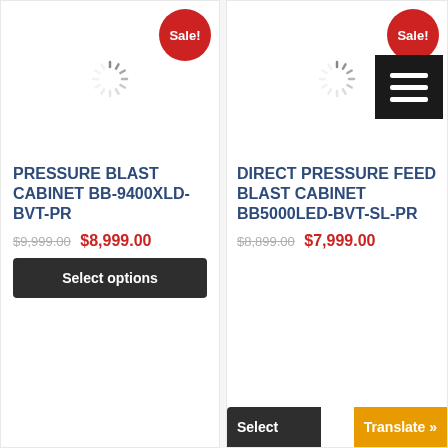[Figure (screenshot): Product card for PRESSURE BLAST CABINET BB-9400XLD-BVT-PR with Sale badge and loading spinner]
PRESSURE BLAST CABINET BB-9400XLD-BVT-PR
$9,999.00 $8,999.00
Select options
[Figure (screenshot): Product card for DIRECT PRESSURE FEED BLAST CABINET BB5000LED-BVT-SL-PR with Sale badge, hamburger menu icon, and loading spinner]
DIRECT PRESSURE FEED BLAST CABINET BB5000LED-BVT-SL-PR
$8,899.00 $7,999.00
Select
Translate »